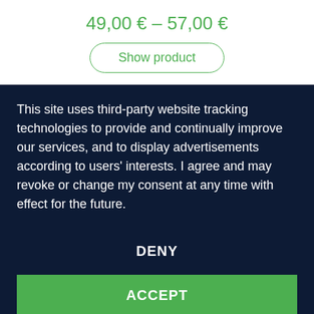49,00 € – 57,00 €
Show product
This site uses third-party website tracking technologies to provide and continually improve our services, and to display advertisements according to users' interests. I agree and may revoke or change my consent at any time with effect for the future.
DENY
ACCEPT
MORE
Powered by usercentrics &